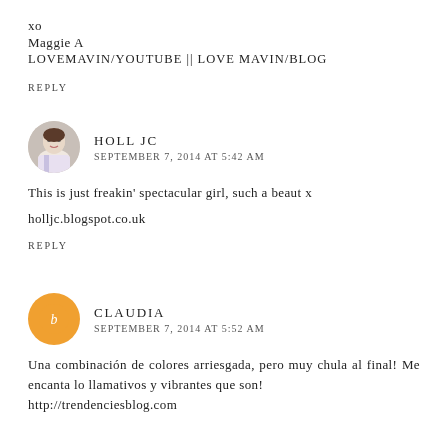xo
Maggie A
LOVEMAVIN/YOUTUBE || LOVE MAVIN/BLOG
REPLY
HOLL JC
SEPTEMBER 7, 2014 AT 5:42 AM
This is just freakin' spectacular girl, such a beaut x
holljc.blogspot.co.uk
REPLY
CLAUDIA
SEPTEMBER 7, 2014 AT 5:52 AM
Una combinación de colores arriesgada, pero muy chula al final! Me encanta lo llamativos y vibrantes que son!
http://trendenciesblog.com